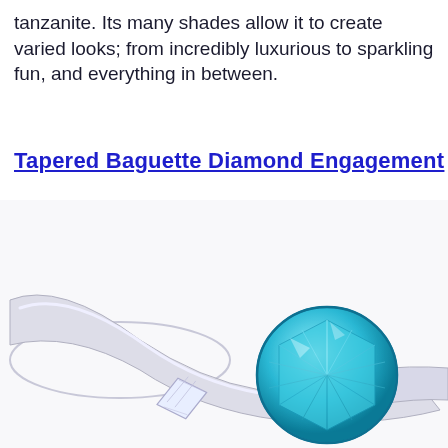tanzanite. Its many shades allow it to create varied looks; from incredibly luxurious to sparkling fun, and everything in between.
Tapered Baguette Diamond Engagement
[Figure (photo): Close-up photo of a James Allen engagement ring with a round aqua/blue gemstone center stone and tapered baguette diamond side stones on a white gold or platinum band. The James Allen brand name is engraved on the inside of the band.]